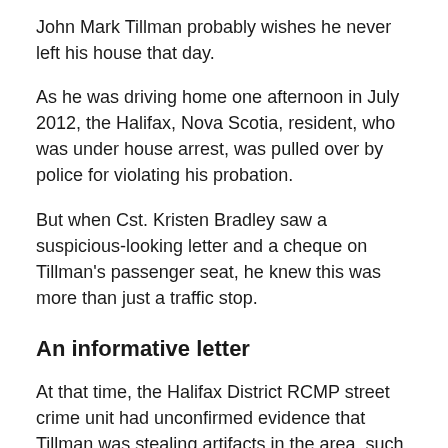John Mark Tillman probably wishes he never left his house that day.
As he was driving home one afternoon in July 2012, the Halifax, Nova Scotia, resident, who was under house arrest, was pulled over by police for violating his probation.
But when Cst. Kristen Bradley saw a suspicious-looking letter and a cheque on Tillman's passenger seat, he knew this was more than just a traffic stop.
An informative letter
At that time, the Halifax District RCMP street crime unit had unconfirmed evidence that Tillman was stealing artifacts in the area, such as historically significant books, antiques, and art. The letter in Tillman's front seat finally made the link.
It was written by General James Wolfe, a British army officer who defeated Louis-Joseph de Montcalm's French